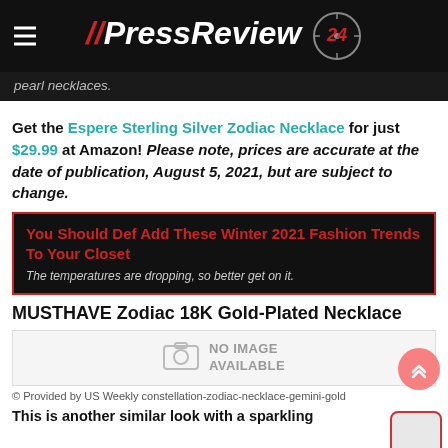// PressReview 24
pearl necklaces.
Get the Espere Sterling Silver Zodiac Necklace for just $29.99 at Amazon! Please note, prices are accurate at the date of publication, August 5, 2021, but are subject to change.
You Should Def Add These Winter 2021 Fashion Trends To Your Closet
The temperatures are dropping, so better get on it.
MUSTHAVE Zodiac 18K Gold-Plated Necklace
[Figure (other): No image available placeholder with camera icon]
© Provided by US Weekly constellation-zodiac-necklace-gemini-gold
This is another similar look with a sparkling